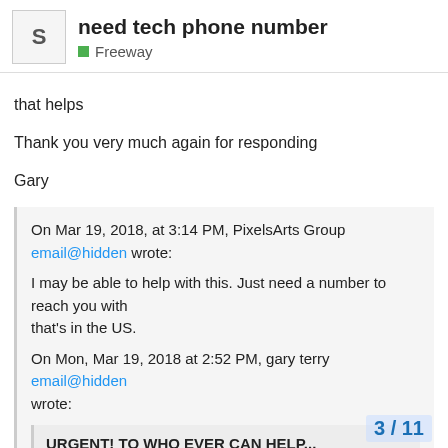need tech phone number | Freeway
that helps
Thank you very much again for responding
Gary
On Mar 19, 2018, at 3:14 PM, PixelsArts Group email@hidden wrote:

I may be able to help with this. Just need a number to reach you with
that's in the US.

On Mon, Mar 19, 2018 at 2:52 PM, gary terry email@hidden wrote:

URGENT! TO WHO EVER CAN HELP...

need to speak with a live person...(tech/support)about changing pages on
website, using Mac/pages/app instea
3 / 11